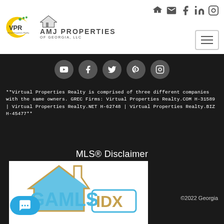[Figure (logo): VPR Virtual Properties Realty logo (yellow crescent with green dots) and AMJ Properties of Georgia LLC logo]
[Figure (infographic): Navigation header with social icons (login, email, facebook, linkedin, instagram) and hamburger menu button]
[Figure (infographic): Five dark circular social media icons: YouTube, Facebook, Twitter, Pinterest, Instagram]
**Virtual Properties Realty is comprised of three different companies with the same owners. GREC Firms: Virtual Properties Realty.COM H-31589 | Virtual Properties Realty.NET H-62748 | Virtual Properties Realty.BIZ H-45477**
MLS® Disclaimer
[Figure (logo): GAMLS IDX logo on white background]
©2022 Georgia